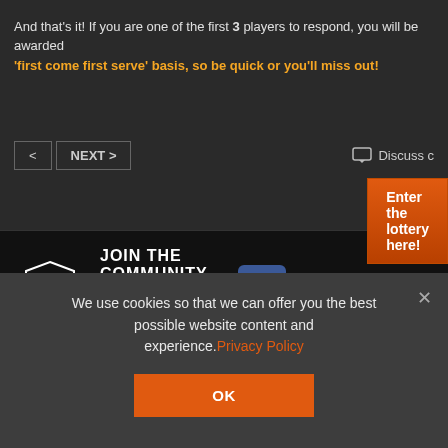And that's it! If you are one of the first 3 players to respond, you will be awarded 'first come first serve' basis, so be quick or you'll miss out!
[Figure (screenshot): Orange button labeled 'Enter the lottery here!']
[Figure (screenshot): Navigation bar with back arrow, NEXT > button, and Discuss option]
[Figure (logo): World of Tanks shield logo with JOIN THE COMMUNITY text and More than 160,000,000 players, alongside Facebook icon and JOIN US ON FACEBOOK]
We use cookies so that we can offer you the best possible website content and experience. Privacy Policy
[Figure (screenshot): Orange OK button in cookie consent dialog]